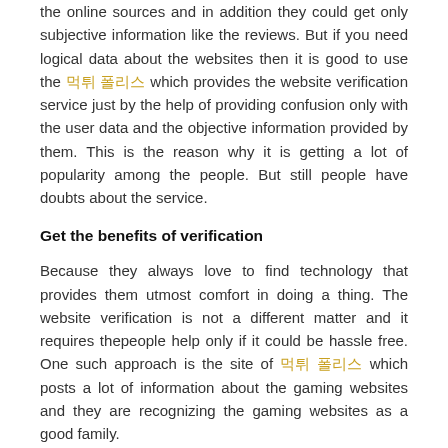the online sources and in addition they could get only subjective information like the reviews. But if you need logical data about the websites then it is good to use the 먹튀 폴리스 which provides the website verification service just by the help of providing confusion only with the user data and the objective information provided by them. This is the reason why it is getting a lot of popularity among the people. But still people have doubts about the service.
Get the benefits of verification
Because they always love to find technology that provides them utmost comfort in doing a thing. The website verification is not a different matter and it requires thepeople help only if it could be hassle free. One such approach is the site of 먹튀 폴리스 which posts a lot of information about the gaming websites and they are recognizing the gaming websites as a good family.
[Figure (photo): Image placeholder with alt text 'online gambling']